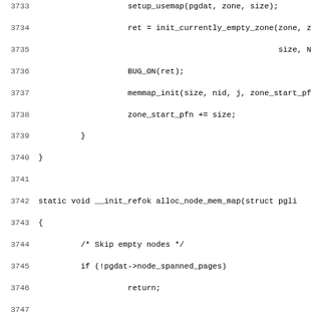[Figure (screenshot): Source code listing in monospace font showing C kernel code lines 3733-3764, including functions setup_usemap, init_currently_empty_zone, BUG_ON, memmap_init, alloc_node_mem_map, and related memory map initialization logic with CONFIG_FLAT_NODE_MEM_MAP ifdef block.]